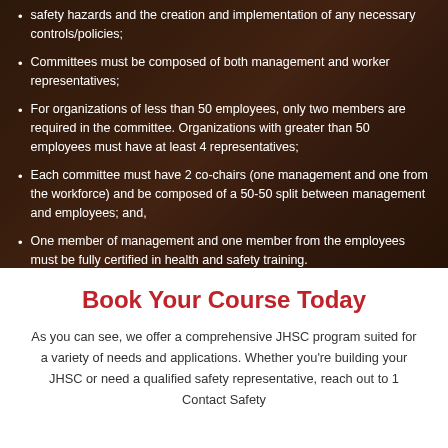safety hazards and the creation and implementation of any necessary controls/policies;
Committees must be composed of both management and worker representatives;
For organizations of less than 50 employees, only two members are required in the committee. Organizations with greater than 50 employees must have at least 4 representatives;
Each committee must have 2 co-chairs (one management and one from the workforce) and be composed of a 50-50 split between management and employees; and,
One member of management and one member from the employees must be fully certified in health and safety training.
Book Your Course Today
As you can see, we offer a comprehensive JHSC program suited for a variety of needs and applications. Whether you're building your JHSC or need a qualified safety representative, reach out to 1 Contact Safety